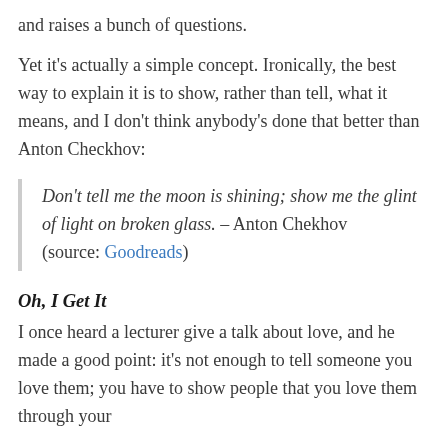and raises a bunch of questions.
Yet it's actually a simple concept. Ironically, the best way to explain it is to show, rather than tell, what it means, and I don't think anybody's done that better than Anton Checkhov:
Don't tell me the moon is shining; show me the glint of light on broken glass. – Anton Chekhov (source: Goodreads)
Oh, I Get It
I once heard a lecturer give a talk about love, and he made a good point: it's not enough to tell someone you love them; you have to show people that you love them through your